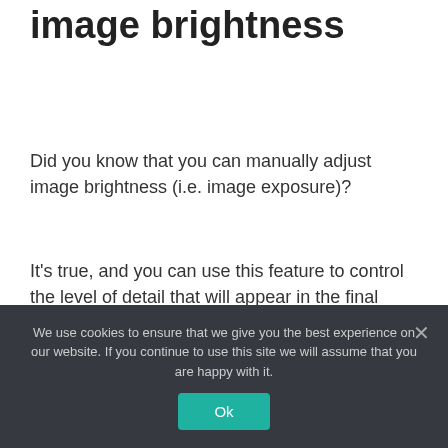4. Manually adjust image brightness
Did you know that you can manually adjust image brightness (i.e. image exposure)?
It's true, and you can use this feature to control the level of detail that will appear in the final photo.
Details depend on your specific smartphone model, but try tapping on the screen and then look for some kind of exposure symbol
We use cookies to ensure that we give you the best experience on our website. If you continue to use this site we will assume that you are happy with it.